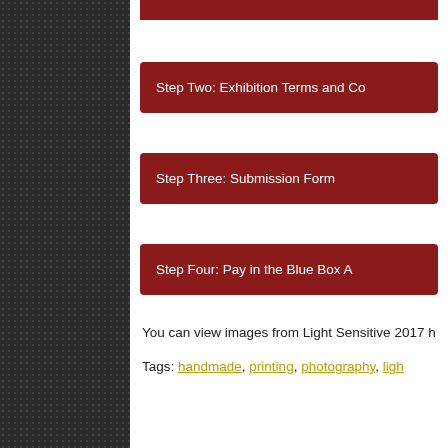[Figure (other): Dark sidebar with dot-grid texture pattern]
Step Two: Exhibition Terms and Co...
Step Three: Submission Form...
Step Four: Pay in the Blue Box A...
You can view images from Light Sensitive 2017 h...
Tags: handmade, printing, photography, ligh...